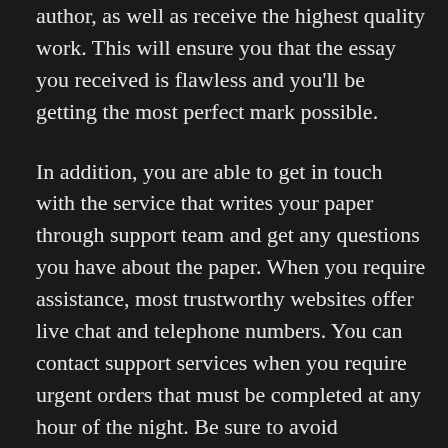author, as well as receive the highest quality work. This will ensure you that the essay you received is flawless and you'll be getting the most perfect mark possible.
In addition, you are able to get in touch with the service that writes your paper through support team and get any questions you have about the paper. When you require assistance, most trustworthy websites offer live chat and telephone numbers. You can contact support services when you require urgent orders that must be completed at any hour of the night. Be sure to avoid companies that offer 24-hour support. They usually claim to be offering 24/7 customer support and can be viewed as